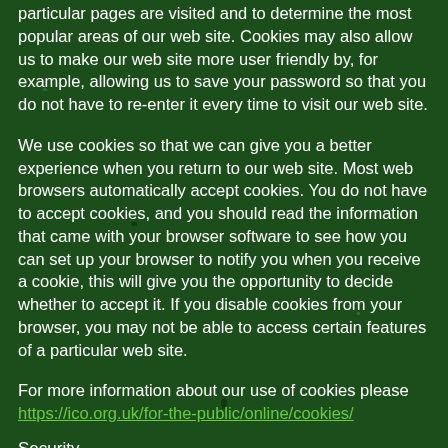particular pages are visited and to determine the most popular areas of our web site. Cookies may also allow us to make our web site more user friendly by, for example, allowing us to save your password so that you do not have to re-enter it every time to visit our web site.
We use cookies so that we can give you a better experience when you return to our web site. Most web browsers automatically accept cookies. You do not have to accept cookies, and you should read the information that came with your browser software to see how you can set up your browser to notify you when you receive a cookie, this will give you the opportunity to decide whether to accept it. If you disable cookies from your browser, you may not be able to access certain features of a particular web site.
For more information about our use of cookies please https://ico.org.uk/for-the-public/online/cookies/
Security
We use...